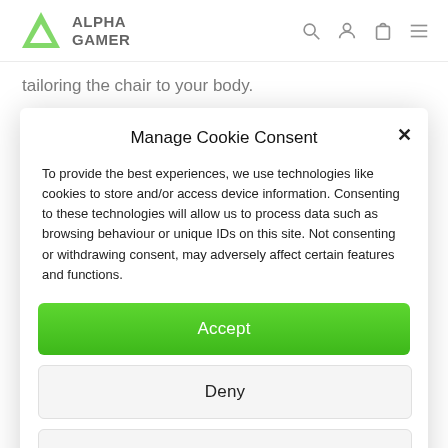[Figure (logo): Alpha Gamer logo — green triangle icon with 'ALPHA GAMER' text in bold, plus search, user, cart, and menu icons on the right]
tailoring the chair to your body.
Manage Cookie Consent
To provide the best experiences, we use technologies like cookies to store and/or access device information. Consenting to these technologies will allow us to process data such as browsing behaviour or unique IDs on this site. Not consenting or withdrawing consent, may adversely affect certain features and functions.
Accept
Deny
View preferences